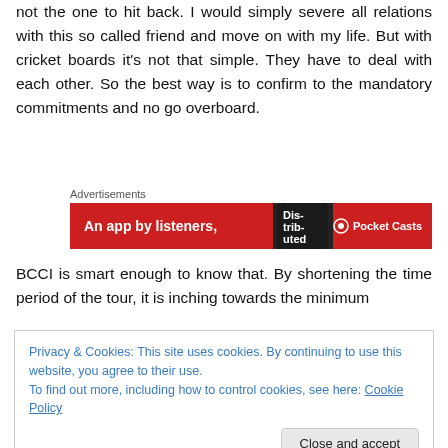not the one to hit back. I would simply severe all relations with this so called friend and move on with my life. But with cricket boards it's not that simple. They have to deal with each other. So the best way is to confirm to the mandatory commitments and no go overboard.
[Figure (other): Advertisement banner: red background with text 'An app by listeners,' and Pocket Casts logo]
BCCI is smart enough to know that. By shortening the time period of the tour, it is inching towards the minimum
Privacy & Cookies: This site uses cookies. By continuing to use this website, you agree to their use.
To find out more, including how to control cookies, see here: Cookie Policy